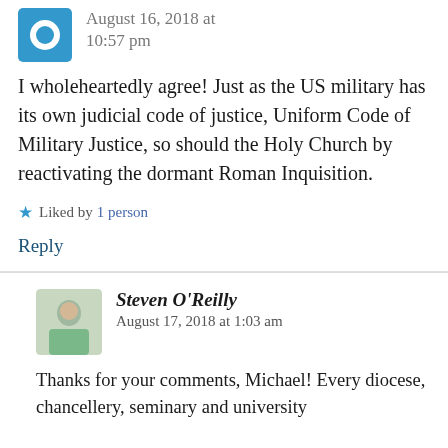Michael J. O'Neill — August 16, 2018 at 10:57 pm
I wholeheartedly agree! Just as the US military has its own judicial code of justice, Uniform Code of Military Justice, so should the Holy Church by reactivating the dormant Roman Inquisition.
★ Liked by 1 person
Reply
Steven O'Reilly — August 17, 2018 at 1:03 am
Thanks for your comments, Michael! Every diocese, chancellery, seminary and university